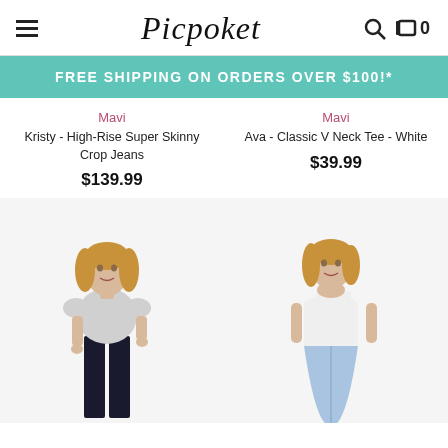Picpoket — navigation header with hamburger menu, logo, search icon, and cart (0)
FREE SHIPPING ON ORDERS OVER $100!*
Mavi — Kristy - High-Rise Super Skinny Crop Jeans — $139.99
Mavi — Ava - Classic V Neck Tee - White — $39.99
[Figure (photo): Woman wearing a light grey short-sleeve v-neck t-shirt and dark skinny jeans]
[Figure (photo): Woman wearing a white sleeveless top and light denim skirt]